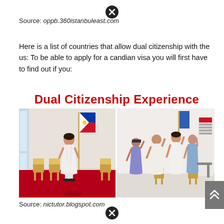Source: oppb.360istanbuleast.com
Here is a list of countries that allow dual citizenship with the us: To be able to apply for a candian visa you will first have to find out if you:
[Figure (photo): Two-panel photo labeled 'Dual Citizenship Experience'. Left panel: woman in white dress standing in front of Philippine flag on red carpet in a room with gold chairs. Right panel: group of people raising hands as if taking an oath in a room, with a banner on the right side.]
Source: nictutor.blogspot.com